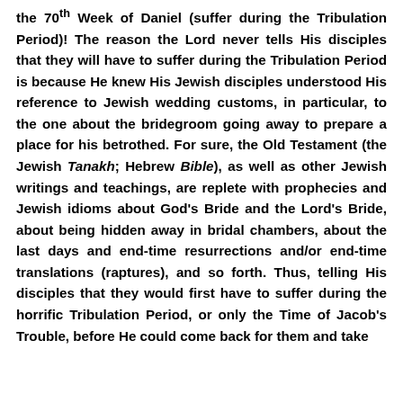the 70th Week of Daniel (suffer during the Tribulation Period)! The reason the Lord never tells His disciples that they will have to suffer during the Tribulation Period is because He knew His Jewish disciples understood His reference to Jewish wedding customs, in particular, to the one about the bridegroom going away to prepare a place for his betrothed. For sure, the Old Testament (the Jewish Tanakh; Hebrew Bible), as well as other Jewish writings and teachings, are replete with prophecies and Jewish idioms about God's Bride and the Lord's Bride, about being hidden away in bridal chambers, about the last days and end-time resurrections and/or end-time translations (raptures), and so forth. Thus, telling His disciples that they would first have to suffer during the horrific Tribulation Period, or only the Time of Jacob's Trouble, before He could come back for them and take